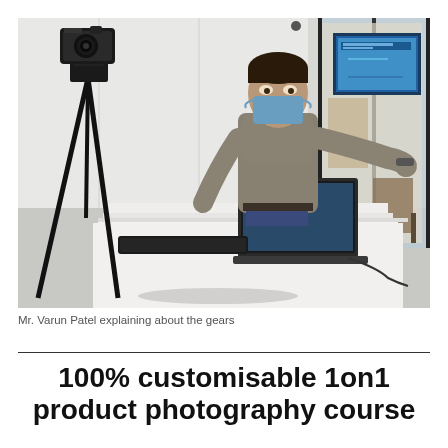[Figure (photo): A person wearing a surgical mask stands behind a table covered with a white cloth. On the table are a laptop and other equipment. To the left is a camera on a tripod. In the background is a large display screen showing some content, and a glass partition on the right side.]
Mr. Varun Patel explaining about the gears
100% customisable 1on1 product photography course